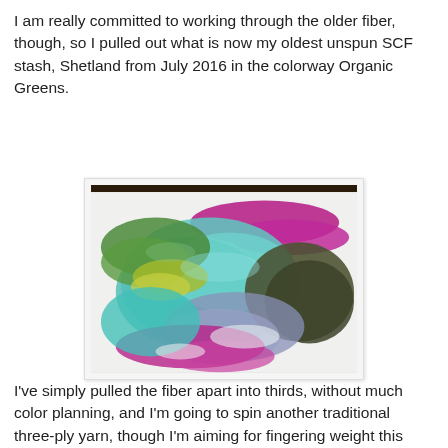I am really committed to working through the older fiber, though, so I pulled out what is now my oldest unspun SCF stash, Shetland from July 2016 in the colorway Organic Greens.
[Figure (photo): A ball/roving of Shetland fiber in the colorway Organic Greens, showing colors of teal, magenta/purple, green, yellow-green, olive, and lavender/blue-grey, coiled on a white background.]
I've simply pulled the fiber apart into thirds, without much color planning, and I'm going to spin another traditional three-ply yarn, though I'm aiming for fingering weight this time around. Thinner yarn means much finer singles to spin, and I should be done with this one far sooner than a found...